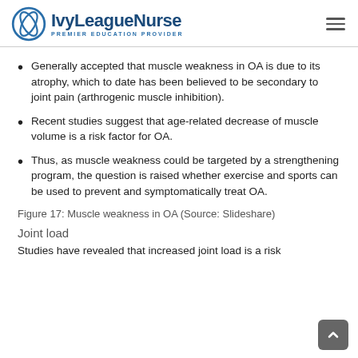IvyLeagueNurse — PREMIER EDUCATION PROVIDER
Generally accepted that muscle weakness in OA is due to its atrophy, which to date has been believed to be secondary to joint pain (arthrogenic muscle inhibition).
Recent studies suggest that age-related decrease of muscle volume is a risk factor for OA.
Thus, as muscle weakness could be targeted by a strengthening program, the question is raised whether exercise and sports can be used to prevent and symptomatically treat OA.
Figure 17: Muscle weakness in OA (Source: Slideshare)
Joint load
Studies have revealed that increased joint load is a risk